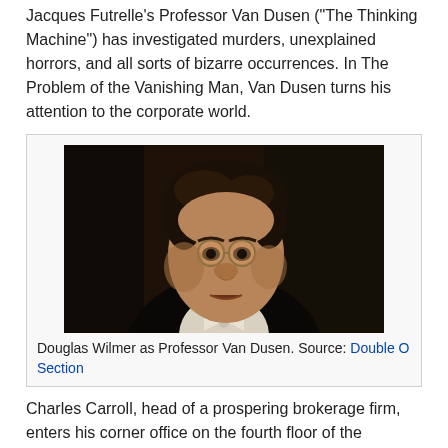Jacques Futrelle's Professor Van Dusen ("The Thinking Machine") has investigated murders, unexplained horrors, and all sorts of bizarre occurrences. In The Problem of the Vanishing Man, Van Dusen turns his attention to the corporate world.
[Figure (photo): Black and white photograph of Douglas Wilmer as Professor Van Dusen, a man in formal attire with a bow tie, wearing pince-nez glasses, looking upward with an intense expression.]
Douglas Wilmer as Professor Van Dusen. Source: Double O Section
Charles Carroll, head of a prospering brokerage firm, enters his corner office on the fourth floor of the building. When a member of staff follows him in, he is nowhere to be found. How can he have escaped the building without being seen,